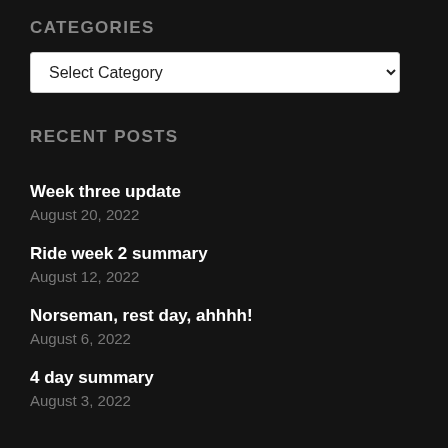CATEGORIES
Select Category
RECENT POSTS
Week three update
August 20, 2022
Ride week 2 summary
August 12, 2022
Norseman, rest day, ahhhh!
August 6, 2022
4 day summary
August 3, 2022